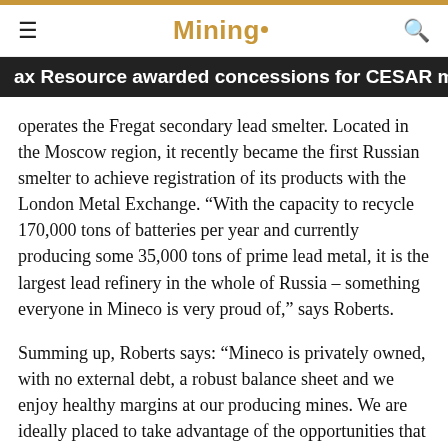Mining.
ax Resource awarded concessions for CESAR mining project
operates the Fregat secondary lead smelter. Located in the Moscow region, it recently became the first Russian smelter to achieve registration of its products with the London Metal Exchange. “With the capacity to recycle 170,000 tons of batteries per year and currently producing some 35,000 tons of prime lead metal, it is the largest lead refinery in the whole of Russia – something everyone in Mineco is very proud of,” says Roberts.
Summing up, Roberts says: “Mineco is privately owned, with no external debt, a robust balance sheet and we enjoy healthy margins at our producing mines. We are ideally placed to take advantage of the opportunities that will present themselves over the coming couple of years. Investors reinforce their successes, and I am